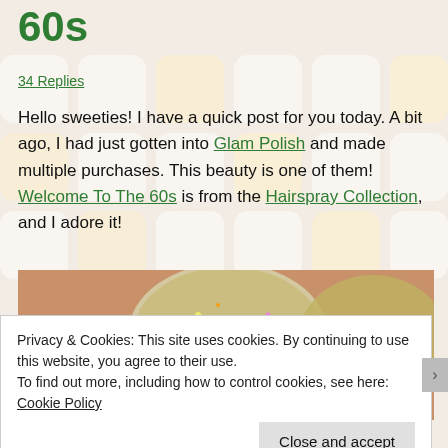60s
34 Replies
Hello sweeties! I have a quick post for you today. A bit ago, I had just gotten into Glam Polish and made multiple purchases. This beauty is one of them! Welcome To The 60s is from the Hairspray Collection, and I adore it!
[Figure (photo): Close-up photo of glittery holographic nail polish on fingers, with 'Doctor Crafty' and 'GLA' text overlay on the image]
Privacy & Cookies: This site uses cookies. By continuing to use this website, you agree to their use.
To find out more, including how to control cookies, see here: Cookie Policy
Close and accept